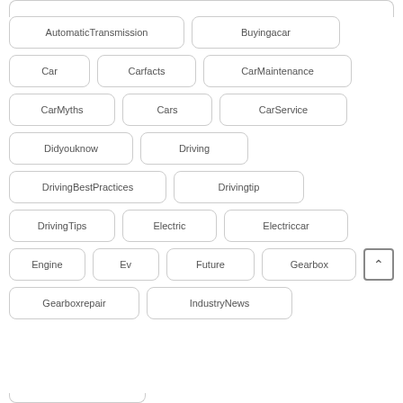AutomaticTransmission
Buyingacar
Car
Carfacts
CarMaintenance
CarMyths
Cars
CarService
Didyouknow
Driving
DrivingBestPractices
Drivingtip
DrivingTips
Electric
Electriccar
Engine
Ev
Future
Gearbox
Gearboxrepair
IndustryNews